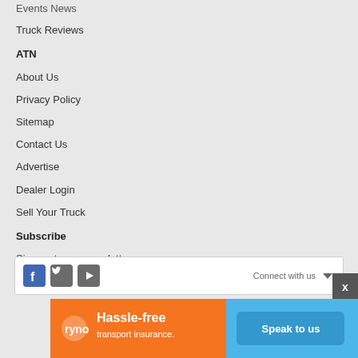Events News
Truck Reviews
ATN
About Us
Privacy Policy
Sitemap
Contact Us
Advertise
Dealer Login
Sell Your Truck
Subscribe
Sign up to our newsletter
Subscribe to a magazine
[Figure (infographic): Social media icons for Facebook, Twitter, YouTube with Connect with us text and dropdown arrow]
[Figure (infographic): Ryno transport insurance advertisement banner with orange and blue sections, Hassle-free transport insurance text, Speak to us button]